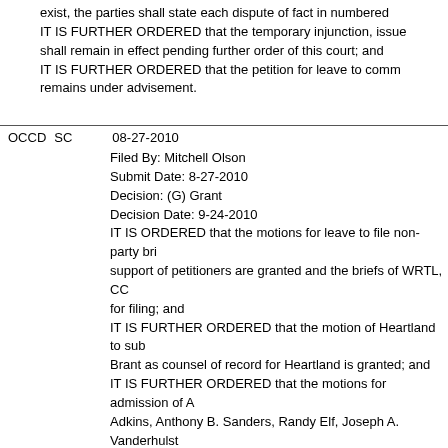exist, the parties shall state each dispute of fact in numbered IT IS FURTHER ORDERED that the temporary injunction, issue shall remain in effect pending further order of this court; and IT IS FURTHER ORDERED that the petition for leave to comm remains under advisement.
OCCD  SC  08-27-2010
Filed By: Mitchell Olson
Submit Date: 8-27-2010
Decision: (G) Grant
Decision Date: 9-24-2010
IT IS ORDERED that the motions for leave to file non-party bri support of petitioners are granted and the briefs of WRTL, CC for filing; and
IT IS FURTHER ORDERED that the motion of Heartland to sub Brant as counsel of record for Heartland is granted; and
IT IS FURTHER ORDERED that the motions for admission of A Adkins, Anthony B. Sanders, Randy Elf, Joseph A. Vanderhulst Troupis pro hac vice are granted. A copy of SCR 10.03(4), sett attorneys appearing pro hac vice, is attached to each moving IT IS FURTHER ORDERED that within 14 days of the date of th shall serve and file a supplemental petition in the form of a co form, which identifies with specificity each separate provision GAB 1.28 that the petitioners claim is unconstitutional/unenf theory and authority supporting each such claim. It shall not b generally that a particular section of Wis. Admin. Code GAB 1 exceeds the authority granted to the GAB. Within 14 days the